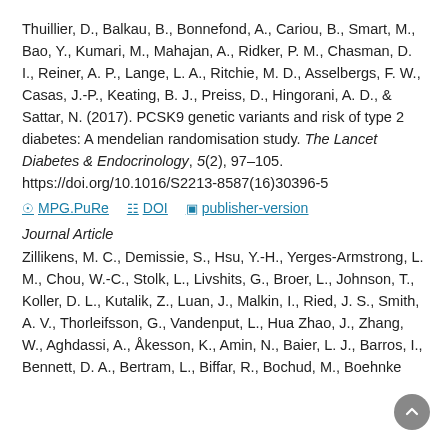Thuillier, D., Balkau, B., Bonnefond, A., Cariou, B., Smart, M., Bao, Y., Kumari, M., Mahajan, A., Ridker, P. M., Chasman, D. I., Reiner, A. P., Lange, L. A., Ritchie, M. D., Asselbergs, F. W., Casas, J.-P., Keating, B. J., Preiss, D., Hingorani, A. D., & Sattar, N. (2017). PCSK9 genetic variants and risk of type 2 diabetes: A mendelian randomisation study. The Lancet Diabetes & Endocrinology, 5(2), 97–105. https://doi.org/10.1016/S2213-8587(16)30396-5
MPG.PuRe | DOI | publisher-version
Journal Article
Zillikens, M. C., Demissie, S., Hsu, Y.-H., Yerges-Armstrong, L. M., Chou, W.-C., Stolk, L., Livshits, G., Broer, L., Johnson, T., Koller, D. L., Kutalik, Z., Luan, J., Malkin, I., Ried, J. S., Smith, A. V., Thorleifsson, G., Vandenput, L., Hua Zhao, J., Zhang, W., Aghdassi, A., Åkesson, K., Amin, N., Baier, L. J., Barros, I., Bennett, D. A., Bertram, L., Biffar, R., Bochud, M., Boehnke